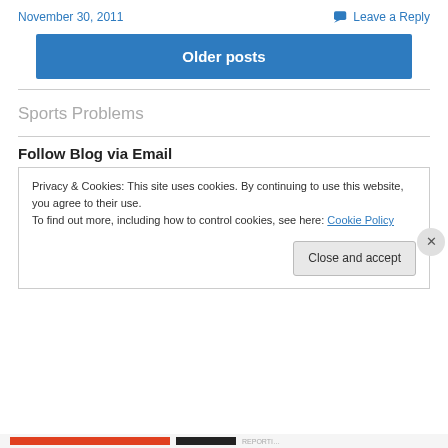November 30, 2011 | Leave a Reply
Older posts
Sports Problems
Follow Blog via Email
Privacy & Cookies: This site uses cookies. By continuing to use this website, you agree to their use.
To find out more, including how to control cookies, see here: Cookie Policy
Close and accept